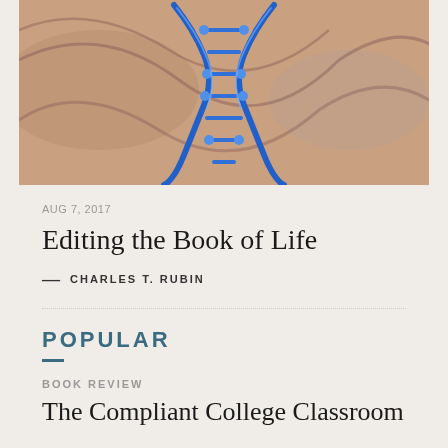[Figure (photo): A blue DNA double helix structure on a blurred warm-toned background]
AUG 7, 2017
Editing the Book of Life
— CHARLES T. RUBIN
POPULAR
BOOK REVIEW
The Compliant College Classroom